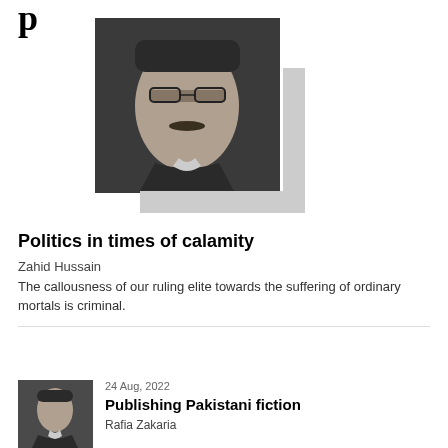[Figure (photo): Black and white portrait photo of a middle-aged South Asian man with glasses and a mustache, wearing a suit jacket]
Politics in times of calamity
Zahid Hussain
The callousness of our ruling elite towards the suffering of ordinary mortals is criminal.
24 Aug, 2022
Publishing Pakistani fiction
Rafia Zakaria
[Figure (photo): Black and white portrait photo of a woman, presumably Rafia Zakaria]